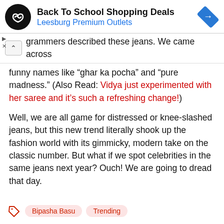[Figure (screenshot): Advertisement banner for Back To School Shopping Deals at Leesburg Premium Outlets with circular black logo icon and blue diamond navigation arrow]
grammers described these jeans. We came across funny names like “ghar ka pocha” and “pure madness.” (Also Read: Vidya just experimented with her saree and it’s such a refreshing change!)
Well, we are all game for distressed or knee-slashed jeans, but this new trend literally shook up the fashion world with its gimmicky, modern take on the classic number. But what if we spot celebrities in the same jeans next year? Ouch! We are going to dread that day.
Bipasha Basu  Trending